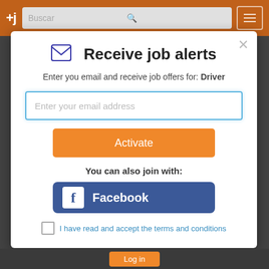[Figure (screenshot): Orange navigation header bar with logo '+j', a search box labeled 'Buscar', a search icon, and a hamburger menu button]
Receive job alerts
Enter you email and receive job offers for: Driver
[Figure (screenshot): Email input field with placeholder text 'Enter your email address' with blue border highlight]
Activate
You can also join with:
[Figure (screenshot): Facebook login button with Facebook icon and text 'Facebook' on dark blue background]
I have read and accept the terms and conditions